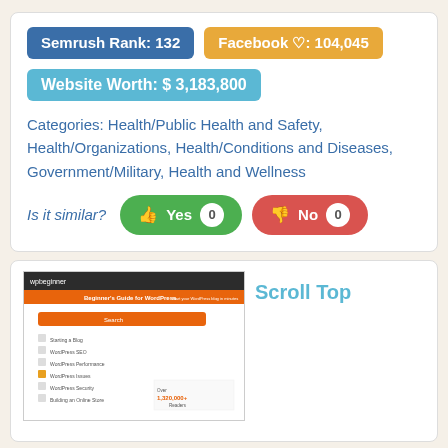Semrush Rank: 132
Facebook ♡: 104,045
Website Worth: $ 3,183,800
Categories: Health/Public Health and Safety, Health/Organizations, Health/Conditions and Diseases, Government/Military, Health and Wellness
Is it similar? Yes 0  No 0
[Figure (screenshot): Screenshot of wpbeginner website showing Beginner's Guide for WordPress with an orange navigation bar and sidebar menu listing Starting a Blog, WordPress SEO, WordPress Performance, WordPress Issues, WordPress Security, Building an Online Store. Over 1,320,000+ Readers shown at bottom right.]
Scroll Top